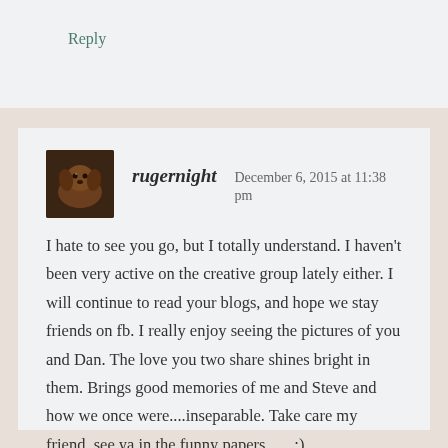Reply
rugernight   December 6, 2015 at 11:38 pm
I hate to see you go, but I totally understand. I haven't been very active on the creative group lately either. I will continue to read your blogs, and hope we stay friends on fb. I really enjoy seeing the pictures of you and Dan. The love you two share shines bright in them. Brings good memories of me and Steve and how we once were....inseparable. Take care my friend, see ya in the funny papers. .....:)
Reply